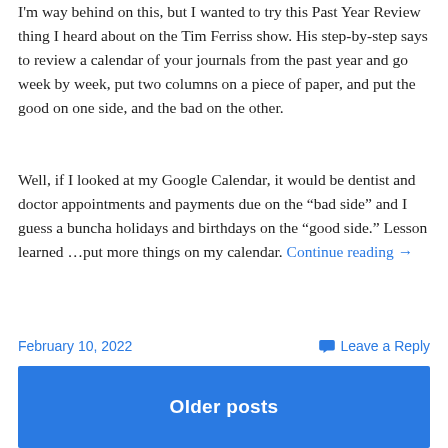I'm way behind on this, but I wanted to try this Past Year Review thing I heard about on the Tim Ferriss show. His step-by-step says to review a calendar of your journals from the past year and go week by week, put two columns on a piece of paper, and put the good on one side, and the bad on the other.
Well, if I looked at my Google Calendar, it would be dentist and doctor appointments and payments due on the “bad side” and I guess a buncha holidays and birthdays on the “good side.” Lesson learned …put more things on my calendar. Continue reading →
February 10, 2022
Leave a Reply
Older posts